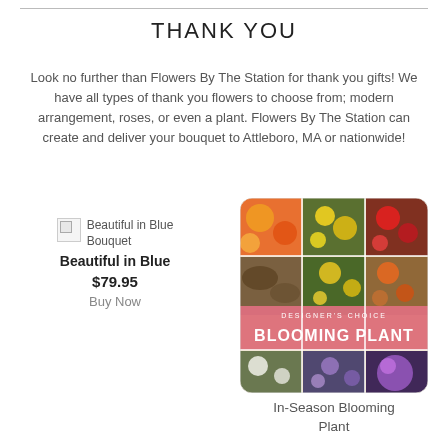THANK YOU
Look no further than Flowers By The Station for thank you gifts! We have all types of thank you flowers to choose from; modern arrangement, roses, or even a plant. Flowers By The Station can create and deliver your bouquet to Attleboro, MA or nationwide!
[Figure (photo): Broken image placeholder for Beautiful in Blue Bouquet product photo]
Beautiful in Blue
$79.95
Buy Now
[Figure (photo): Designer's Choice Blooming Plant product photo collage showing various colorful flowers in a grid with a pink banner reading DESIGNER'S CHOICE BLOOMING PLANT]
In-Season Blooming Plant